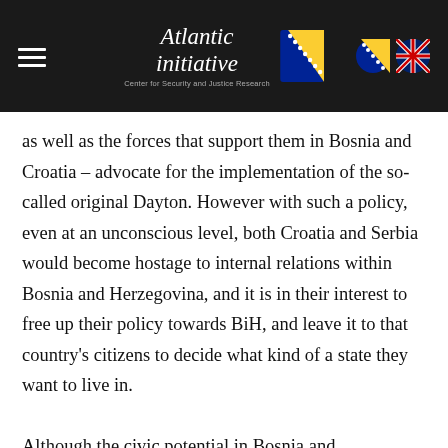Atlantic initiative — Center for Security and Justice Research
as well as the forces that support them in Bosnia and Croatia – advocate for the implementation of the so-called original Dayton. However with such a policy, even at an unconscious level, both Croatia and Serbia would become hostage to internal relations within Bosnia and Herzegovina, and it is in their interest to free up their policy towards BiH, and leave it to that country's citizens to decide what kind of a state they want to live in.
Although the civic potential in Bosnia and Herzegovina is still weak (because the mutual trust among its citizens is at a very low level), it has not been destroyed entirely, regardless of the years of